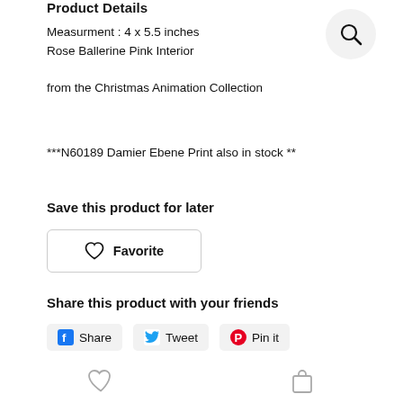Product Details
Measurment : 4 x 5.5 inches
Rose Ballerine Pink Interior
from the Christmas Animation Collection
***N60189 Damier Ebene Print also in stock **
Save this product for later
Favorite
Share this product with your friends
Share  Tweet  Pin it